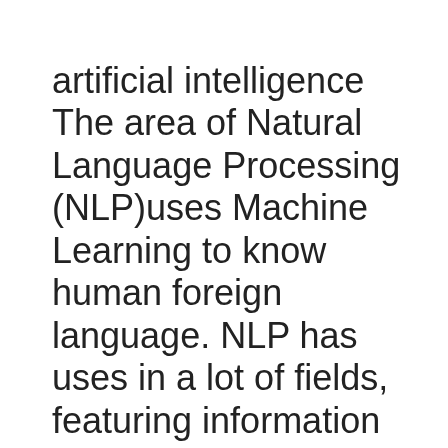artificial intelligence The area of Natural Language Processing (NLP)uses Machine Learning to know human foreign language. NLP has uses in a lot of fields, featuring information retrieval, internet search, concern answering, text message summation, and also device interpretation. It is the primary technology behind chatbots as well as Siri. Discover more concerning this growing area of artificial intelligence. We'll review